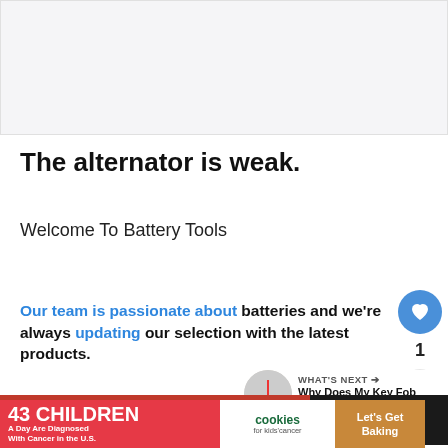[Figure (other): Light gray advertisement banner placeholder at top of page]
The alternator is weak.
Welcome To Battery Tools
Our team is passionate about batteries and we're always updating our selection with the latest products.
[Figure (other): Red batteries photo strip at bottom of page]
[Figure (other): Advertisement banner: 43 CHILDREN A Day Are Diagnosed With Cancer in the U.S. / cookies for kids cancer / Let's Get Baking]